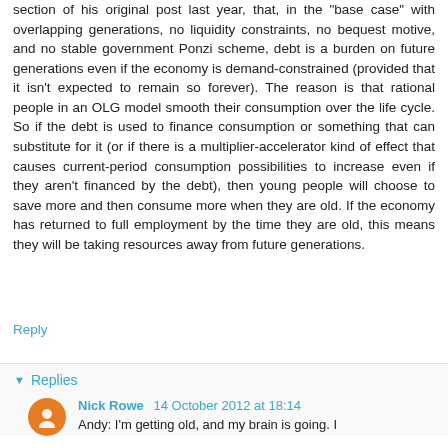section of his original post last year, that, in the "base case" with overlapping generations, no liquidity constraints, no bequest motive, and no stable government Ponzi scheme, debt is a burden on future generations even if the economy is demand-constrained (provided that it isn't expected to remain so forever). The reason is that rational people in an OLG model smooth their consumption over the life cycle. So if the debt is used to finance consumption or something that can substitute for it (or if there is a multiplier-accelerator kind of effect that causes current-period consumption possibilities to increase even if they aren't financed by the debt), then young people will choose to save more and then consume more when they are old. If the economy has returned to full employment by the time they are old, this means they will be taking resources away from future generations.
Reply
Replies
Nick Rowe 14 October 2012 at 18:14
Andy: I'm getting old, and my brain is going. I